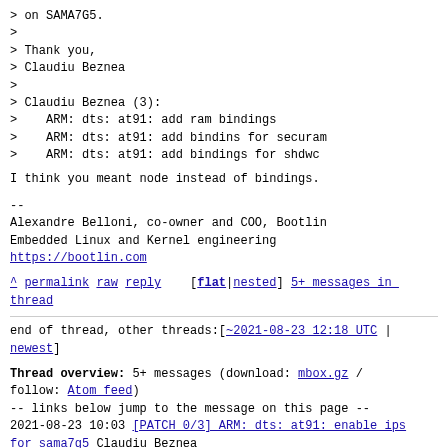> on SAMA7G5.
>
> Thank you,
> Claudiu Beznea
>
> Claudiu Beznea (3):
>    ARM: dts: at91: add ram bindings
>    ARM: dts: at91: add bindins for securam
>    ARM: dts: at91: add bindings for shdwc
I think you meant node instead of bindings.
--
Alexandre Belloni, co-owner and COO, Bootlin
Embedded Linux and Kernel engineering
https://bootlin.com
^ permalink raw reply [flat|nested] 5+ messages in thread
end of thread, other threads:[~2021-08-23 12:18 UTC | newest]
Thread overview: 5+ messages (download: mbox.gz / follow: Atom feed)
-- links below jump to the message on this page --
2021-08-23 10:03 [PATCH 0/3] ARM: dts: at91: enable ips for sama7g5 Claudiu Beznea